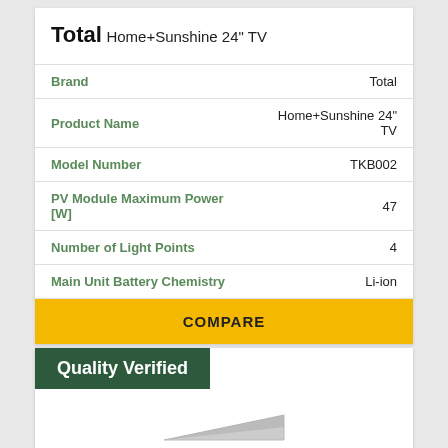Total
Home+Sunshine 24" TV
| Attribute | Value |
| --- | --- |
| Brand | Total |
| Product Name | Home+Sunshine 24" TV |
| Model Number | TKB002 |
| PV Module Maximum Power [W] | 47 |
| Number of Light Points | 4 |
| Main Unit Battery Chemistry | Li-ion |
COMPARE
Quality Verified